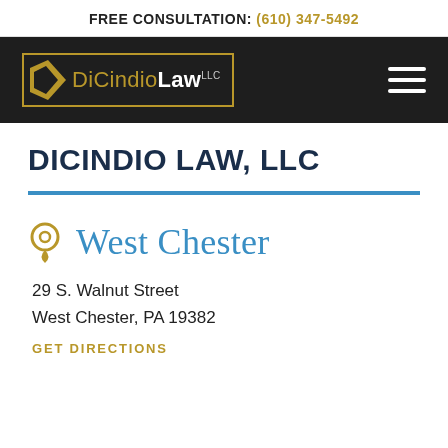FREE CONSULTATION: (610) 347-5492
[Figure (logo): DiCindio Law LLC logo on dark navigation bar with hamburger menu icon]
DICINDIO LAW, LLC
West Chester
29 S. Walnut Street
West Chester, PA 19382
GET DIRECTIONS